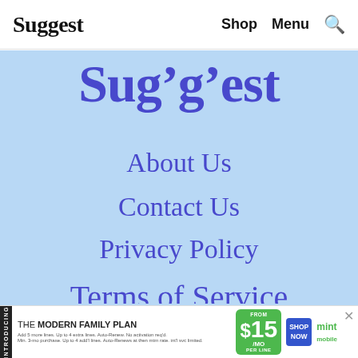Suggest   Shop   Menu   🔍
Suggest
About Us
Contact Us
Privacy Policy
Terms of Service
[Figure (infographic): Mint Mobile advertisement banner: INTRODUCING THE MODERN FAMILY PLAN FROM $15/MO PER LINE SHOP NOW mint mobile]